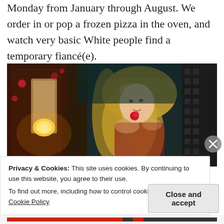Monday from January through August. We order in or pop a frozen pizza in the oven, and watch very basic White people find a temporary fiancé(e).
[Figure (photo): A blonde woman holding a red rose in a dimly lit setting, with a glowing candle lantern visible. TV show screenshot with 'QUANTICO' and 'abc' watermarks.]
Privacy & Cookies: This site uses cookies. By continuing to use this website, you agree to their use.
To find out more, including how to control cookies, see here: Cookie Policy
Close and accept